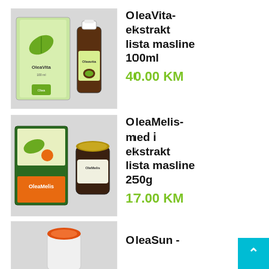[Figure (photo): Product photo of OleaVita - box and bottle of olive leaf extract 100ml]
OleaVita- ekstrakt lista masline 100ml
40.00 KM
[Figure (photo): Product photo of OleaMelis - box and jar of honey and olive leaf extract 250g]
OleaMelis- med i ekstrakt lista masline 250g
17.00 KM
[Figure (photo): Partial product photo of OleaSun]
OleaSun -